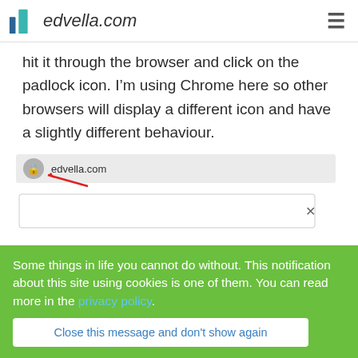edvella.com
hit it through the browser and click on the padlock icon. I’m using Chrome here so other browsers will display a different icon and have a slightly different behaviour.
[Figure (screenshot): Screenshot of a browser address bar showing a padlock icon and edvella.com, with a red arrow pointing to the padlock, and a dropdown box below with an X close button.]
Some things in life you cannot do without. This notification about this site using cookies is one of them. You can read more in the privacy policy.
Close this message and don't show again